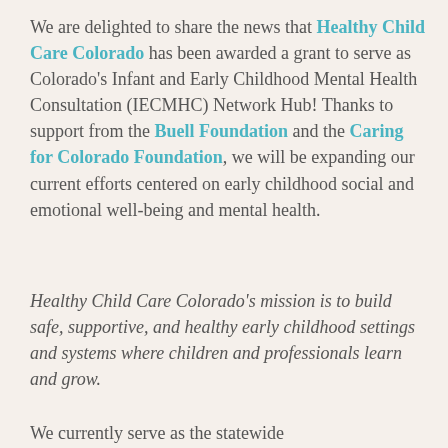We are delighted to share the news that Healthy Child Care Colorado has been awarded a grant to serve as Colorado's Infant and Early Childhood Mental Health Consultation (IECMHC) Network Hub! Thanks to support from the Buell Foundation and the Caring for Colorado Foundation, we will be expanding our current efforts centered on early childhood social and emotional well-being and mental health.
Healthy Child Care Colorado's mission is to build safe, supportive, and healthy early childhood settings and systems where children and professionals learn and grow.
We currently serve as the statewide